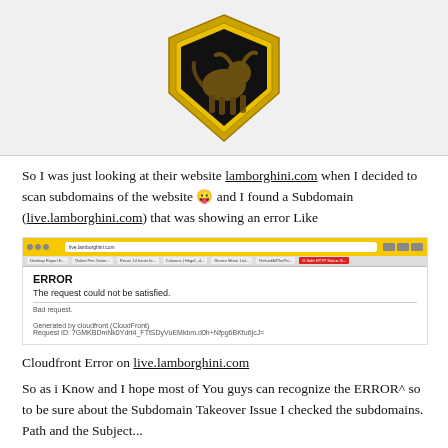[Figure (logo): Lamborghini logo — gold shield with black bull on black background]
So I was just looking at their website lamborghini.com when I decided to scan subdomains of the website 😛 and I found a Subdomain (live.lamborghini.com) that was showing an error Like
[Figure (screenshot): Screenshot of a browser showing live.lamborghini.com with a CloudFront ERROR page: 'The request could not be satisfied.' and 'Bad request.' text]
Cloudfront Error on live.lamborghini.com
So as i Know and I hope most of You guys can recognize the ERROR^ so to be sure about the Subdomain Takeover Issue I checked the subdomains. Path and the Subject...